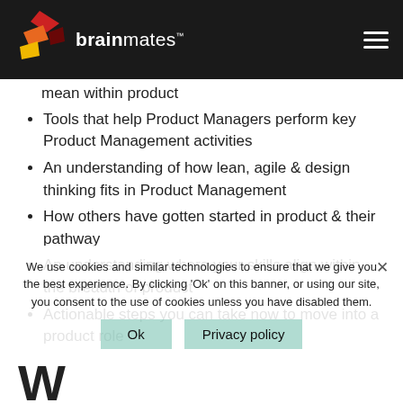brainmates
mean within product
Tools that help Product Managers perform key Product Management activities
An understanding of how lean, agile & design thinking fits in Product Management
How others have gotten started in product & their pathway
An understanding where your skills align within the breadth of product
Actionable steps you can take now to move into a product role
We use cookies and similar technologies to ensure that we give you the best experience. By clicking 'Ok' on this banner, or using our site, you consent to the use of cookies unless you have disabled them.
W